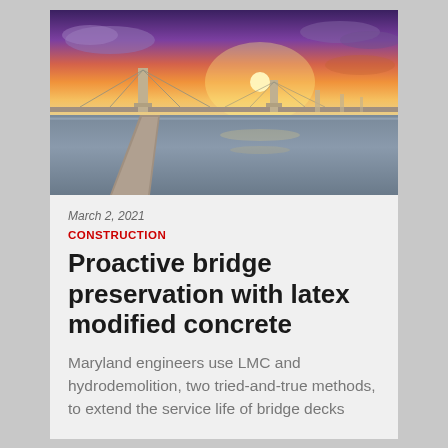[Figure (photo): Aerial photograph of a long suspension bridge over calm water at sunset, with dramatic orange, purple, and blue sky with clouds]
March 2, 2021
CONSTRUCTION
Proactive bridge preservation with latex modified concrete
Maryland engineers use LMC and hydrodemolition, two tried-and-true methods, to extend the service life of bridge decks